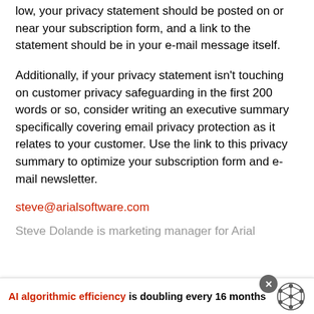low, your privacy statement should be posted on or near your subscription form, and a link to the statement should be in your e-mail message itself.
Additionally, if your privacy statement isn't touching on customer privacy safeguarding in the first 200 words or so, consider writing an executive summary specifically covering email privacy protection as it relates to your customer. Use the link to this privacy summary to optimize your subscription form and e-mail newsletter.
steve@arialsoftware.com
Steve Dolande is marketing manager for Arial
AI algorithmic efficiency is doubling every 16 months